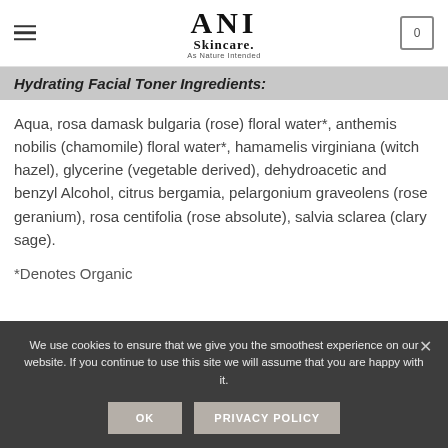ANI Skincare. As Nature Intended
Hydrating Facial Toner Ingredients:
Aqua, rosa damask bulgaria (rose) floral water*, anthemis nobilis (chamomile) floral water*, hamamelis virginiana (witch hazel), glycerine (vegetable derived), dehydroacetic and benzyl Alcohol, citrus bergamia, pelargonium graveolens (rose geranium), rosa centifolia (rose absolute), salvia sclarea (clary sage).
*Denotes Organic
We use cookies to ensure that we give you the smoothest experience on our website. If you continue to use this site we will assume that you are happy with it.